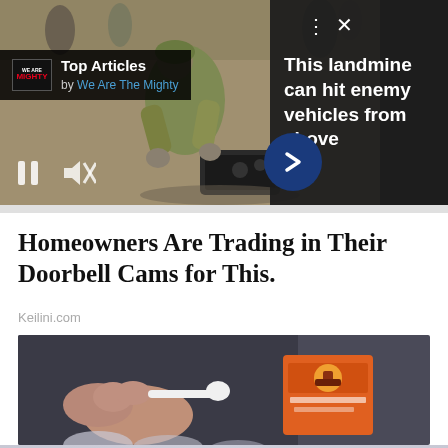[Figure (screenshot): Top video ad banner showing: Top Articles by We Are The Mighty overlay on left side with logo, military soldier in camouflage bending down with equipment on sandy ground in center, dark panel on right with text 'This landmine can hit enemy vehicles from above', media controls (pause, mute), arrow navigation button, dots menu and X close button.]
Homeowners Are Trading in Their Doorbell Cams for This.
Keilini.com
[Figure (photo): Photo of a person in dark clothing holding a white spoon and an orange Arm & Hammer baking soda box, with glass jars visible in the background.]